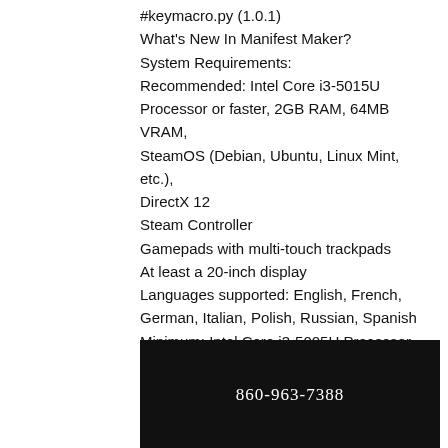#keymacro.py (1.0.1)
What's New In Manifest Maker?
System Requirements:
Recommended: Intel Core i3-5015U Processor or faster, 2GB RAM, 64MB VRAM,
SteamOS (Debian, Ubuntu, Linux Mint, etc.),
DirectX 12
Steam Controller
Gamepads with multi-touch trackpads
At least a 20-inch display
Languages supported: English, French, German, Italian, Polish, Russian, Spanish
Minimum: Intel Core i3-5005U Processor, 4GB RAM, 32MB VRAM, SteamOS,
[Figure (other): Dark black bar with phone number 860-963-7388 in white serif text]
[Figure (other): Footer bar with Phone icon (green) and Facebook icon (blue) with labels]